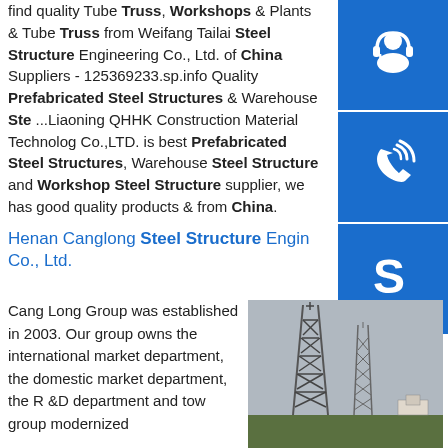find quality Tube Truss, Workshops & Plants & Tube Truss from Weifang Tailai Steel Structure Engineering Co., Ltd. of China Suppliers - 125369233.sp.info Quality Prefabricated Steel Structures & Warehouse Ste...Liaoning QHHK Construction Material Technology Co.,LTD. is best Prefabricated Steel Structures, Warehouse Steel Structure and Workshop Steel Structure supplier, we has good quality products & from China.
[Figure (illustration): Blue square icon with headset/customer support symbol]
[Figure (illustration): Blue square icon with phone/call symbol]
[Figure (illustration): Blue square icon with Skype logo symbol]
Henan Canglong Steel Structure Engineering Co., Ltd.
Cang Long Group was established in 2003. Our group owns the international market department, the domestic market department, the R &D department and tow group modernized
[Figure (photo): Photo of steel lattice towers/structures against a grey sky with trees in background]